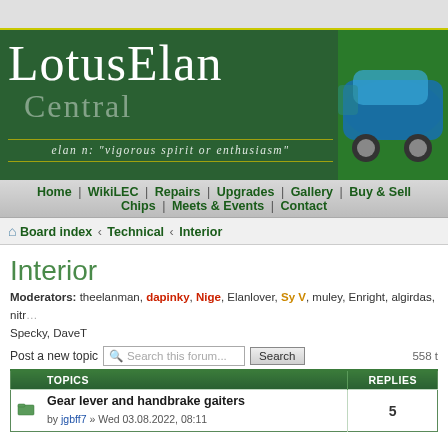[Figure (screenshot): LotusElan Central website header banner with dark green background, serif logo text 'LotusElan Central', tagline 'elan n: vigorous spirit or enthusiasm', and a photo of a blue Lotus Elan car on the right]
Home | WikiLEC | Repairs | Upgrades | Gallery | Buy & Sell Chips | Meets & Events | Contact
Board index ‹ Technical ‹ Interior
Interior
Moderators: theelanman, dapinky, Nige, Elanlover, Sy V, muley, Enright, algirdas, nitr... Specky, DaveT
Post a new topic   Search this forum...  Search   558 t
| TOPICS | REPLIES |
| --- | --- |
| Gear lever and handbrake gaiters
by jgbff7 » Wed 03.08.2022, 08:11 | 5 |